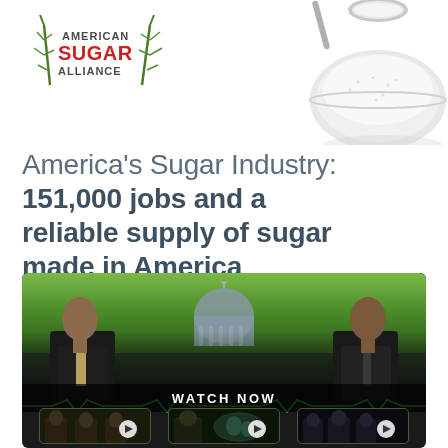[Figure (logo): American Sugar Alliance logo with stylized sugarcane stalks and red SUGAR text]
[Figure (photo): Overhead view of a white bowl filled with granulated sugar with a spoon, cropped at top-right corner]
America's Sugar Industry: 151,000 jobs and a reliable supply of sugar made in America
[Figure (screenshot): Video player screenshot showing two men in a TV studio with Capitol building and green fields backdrop, WATCH NOW overlay bar, and three video thumbnails with play buttons below]